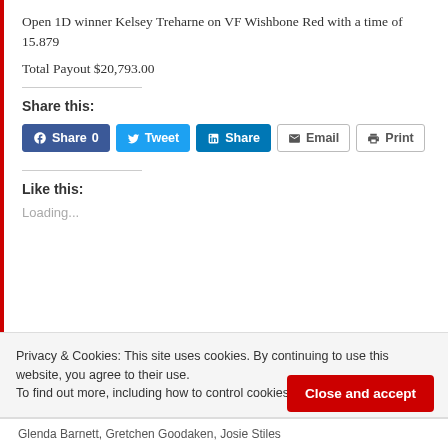Open 1D winner Kelsey Treharne on VF Wishbone Red with a time of 15.879
Total Payout $20,793.00
Share this:
[Figure (screenshot): Social sharing buttons: Facebook Share 0, Tweet, LinkedIn Share, Email, Print]
Like this:
Loading...
Privacy & Cookies: This site uses cookies. By continuing to use this website, you agree to their use.
To find out more, including how to control cookies, see here: Cookie Policy
Close and accept
Glenda Barnett, Gretchen Goodaken, Josie Stiles